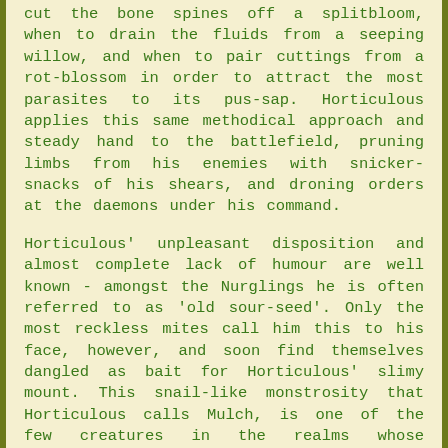cut the bone spines off a splitbloom, when to drain the fluids from a seeping willow, and when to pair cuttings from a rot-blossom in order to attract the most parasites to its pus-sap. Horticulous applies this same methodical approach and steady hand to the battlefield, pruning limbs from his enemies with snicker-snacks of his shears, and droning orders at the daemons under his command.
Horticulous' unpleasant disposition and almost complete lack of humour are well known - amongst the Nurglings he is often referred to as 'old sour-seed'. Only the most reckless mites call him this to his face, however, and soon find themselves dangled as bait for Horticulous' slimy mount. This snail-like monstrosity that Horticulous calls Mulch, is one of the few creatures in the realms whose presence the Grand Cultivator can always tolerate. This may be because Mulch is every bit as curmudgeonly as his master. The snail-beast is always ready with a sardonic snort or guttural sigh, and devours any